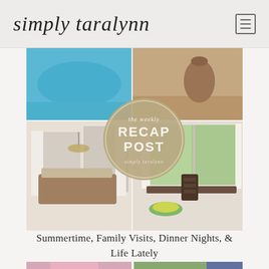simply taralynn
[Figure (photo): A blog collage image showing a 'the weekly RECAP POST' circular badge overlaid on four photos: a blue inflatable pool, a brown ceramic vase, a bedroom interior with white curtains and chandelier, and a dining table with salad bowl near bright windows with greenery outside.]
Summertime, Family Visits, Dinner Nights, & Life Lately
[Figure (photo): Two partially visible photos at the bottom: left shows a woman in a pink outfit, right shows outdoor scene with stroller.]